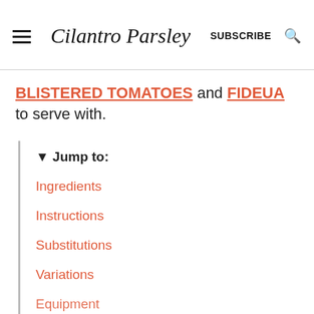Cilantro Parsley — SUBSCRIBE
BLISTERED TOMATOES and FIDEUA to serve with.
▼ Jump to:
Ingredients
Instructions
Substitutions
Variations
Equipment